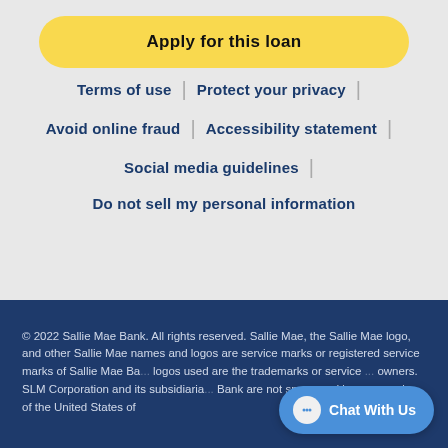Apply for this loan
Terms of use | Protect your privacy |
Avoid online fraud | Accessibility statement |
Social media guidelines |
Do not sell my personal information
© 2022 Sallie Mae Bank. All rights reserved. Sallie Mae, the Sallie Mae logo, and other Sallie Mae names and logos are service marks or registered service marks of Sallie Mae Ba... logos used are the trademarks or service ... owners. SLM Corporation and its subsidiaria... Bank are not sponsored by or agencies of the United States of